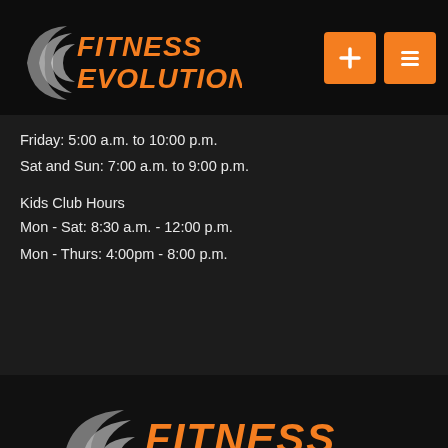[Figure (logo): Fitness Evolution logo with swoosh graphic in white/grey and orange italic text reading FITNESS EVOLUTION, with two orange navigation buttons (plus and list icons) on the right]
Friday: 5:00 a.m. to 10:00 p.m.
Sat and Sun: 7:00 a.m. to 9:00 p.m.

Kids Club Hours
Mon - Sat: 8:30 a.m. - 12:00 p.m.
Mon - Thurs: 4:00pm - 8:00 p.m.
[Figure (logo): Fitness Evolution logo centered on dark background - swoosh graphic in white/grey and orange italic text reading FITNESS EVOLUTION]
Copyright © 2022 Fitness Evolution, all rights reserved.
101 14th Street Northeast,  Buffalo, MN 55313
JOIN OUR MEMBERSHIP PROGRAM